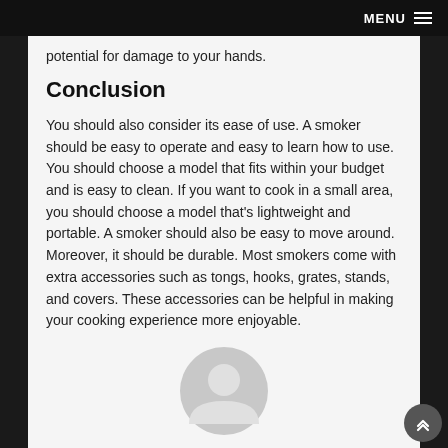MENU
potential for damage to your hands.
Conclusion
You should also consider its ease of use. A smoker should be easy to operate and easy to learn how to use. You should choose a model that fits within your budget and is easy to clean. If you want to cook in a small area, you should choose a model that’s lightweight and portable. A smoker should also be easy to move around. Moreover, it should be durable. Most smokers come with extra accessories such as tongs, hooks, grates, stands, and covers. These accessories can be helpful in making your cooking experience more enjoyable.
[Figure (illustration): Generic user avatar icon in light gray]